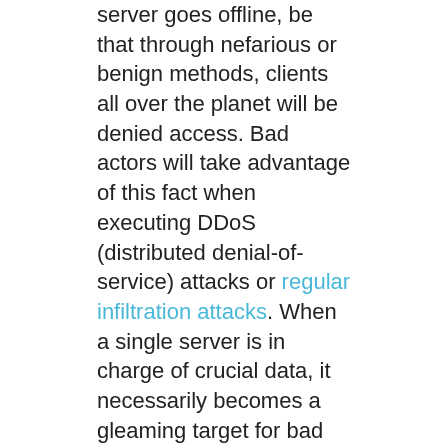server goes offline, be that through nefarious or benign methods, clients all over the planet will be denied access. Bad actors will take advantage of this fact when executing DDoS (distributed denial-of-service) attacks or regular infiltration attacks. When a single server is in charge of crucial data, it necessarily becomes a gleaming target for bad actors.
By taking advantage of a distributed structure, IPFS becomes exponentially more stable and secure. IPFS stores the information on multiple servers, or nodes, all around the world. This distribution increases stability by creating numerous points of access that can act as backups no matter the state of a single node. Decentralizing data in this way makes it practically impossible for bad actors to fall back